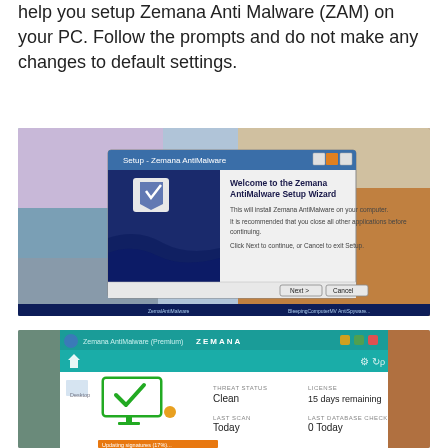help you setup Zemana Anti Malware (ZAM) on your PC. Follow the prompts and do not make any changes to default settings.
[Figure (screenshot): Screenshot of the Zemana AntiMalware Setup Wizard dialog with a dark blue background showing a stylized bird/shield logo and the text 'Welcome to the Zemana AntiMalware Setup Wizard', with Next and Cancel buttons at the bottom, overlaid on a Windows desktop with a scenic ocean/rocky coast wallpaper.]
Once setup is finished successfully, Zemana Free will automatically start and you can see its main screen as displayed in the figure below.
[Figure (screenshot): Screenshot of the Zemana AntiMalware Free main screen showing a teal/blue interface with a ZEMANA logo, a green monitor icon with a checkmark, and status fields: Threat Status: Clean, License: 15 days remaining, Last Scan: Today, Last Database Check: 0 Today, and an orange 'Updating signatures (17%)...' progress bar at the bottom.]